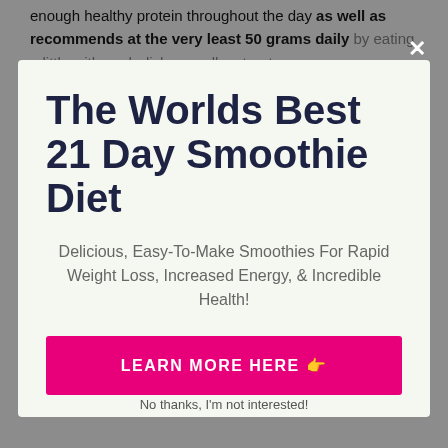enough healthy protein throughout the day as well as recommends at the very least 50 grams daily by eating a little with each dish as well as treat
The Worlds Best 21 Day Smoothie Diet
Delicious, Easy-To-Make Smoothies For Rapid Weight Loss, Increased Energy, & Incredible Health!
LEARN MORE HERE 👉
you prevent a smoothie based diet plan and try various other, healthier strategies instead.
No thanks, I'm not interested!